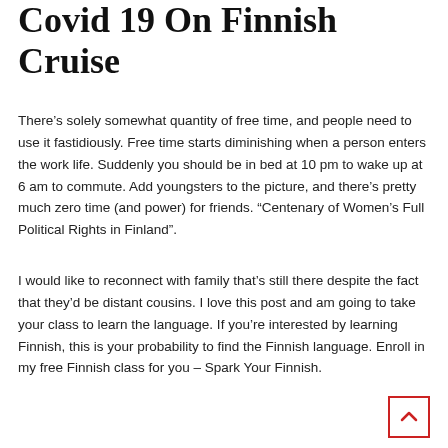Covid 19 On Finnish Cruise
There’s solely somewhat quantity of free time, and people need to use it fastidiously. Free time starts diminishing when a person enters the work life. Suddenly you should be in bed at 10 pm to wake up at 6 am to commute. Add youngsters to the picture, and there’s pretty much zero time (and power) for friends. “Centenary of Women’s Full Political Rights in Finland”.
I would like to reconnect with family that’s still there despite the fact that they’d be distant cousins. I love this post and am going to take your class to learn the language. If you’re interested by learning Finnish, this is your probability to find the Finnish language. Enroll in my free Finnish class for you – Spark Your Finnish.